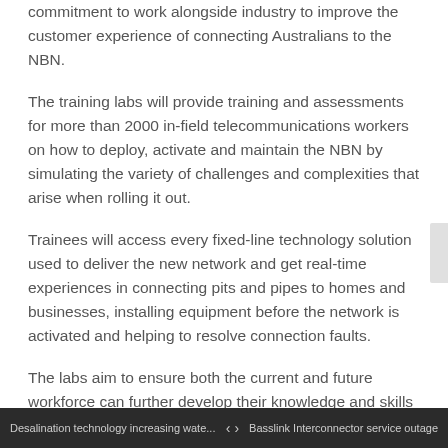commitment to work alongside industry to improve the customer experience of connecting Australians to the NBN.
The training labs will provide training and assessments for more than 2000 in-field telecommunications workers on how to deploy, activate and maintain the NBN by simulating the variety of challenges and complexities that arise when rolling it out.
Trainees will access every fixed-line technology solution used to deliver the new network and get real-time experiences in connecting pits and pipes to homes and businesses, installing equipment before the network is activated and helping to resolve connection faults.
The labs aim to ensure both the current and future workforce can further develop their knowledge and skills to continually improve the quality of the NBN.
Desalination technology increasing wate... < > Basslink Interconnector service outage